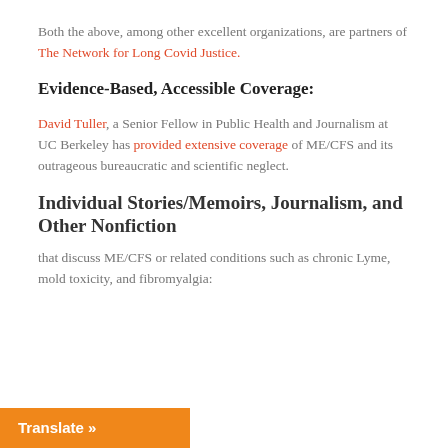Both the above, among other excellent organizations, are partners of The Network for Long Covid Justice.
Evidence-Based, Accessible Coverage:
David Tuller, a Senior Fellow in Public Health and Journalism at UC Berkeley has provided extensive coverage of ME/CFS and its outrageous bureaucratic and scientific neglect.
Individual Stories/Memoirs, Journalism, and Other Nonfiction
that discuss ME/CFS or related conditions such as chronic Lyme, mold toxicity, and fibromyalgia:
Translate »